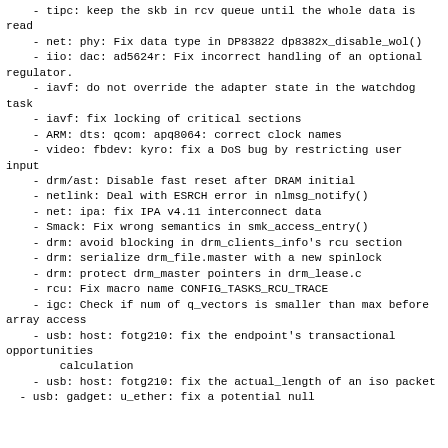- tipc: keep the skb in rcv queue until the whole data is read
- net: phy: Fix data type in DP83822 dp8382x_disable_wol()
- iio: dac: ad5624r: Fix incorrect handling of an optional regulator.
- iavf: do not override the adapter state in the watchdog task
- iavf: fix locking of critical sections
- ARM: dts: qcom: apq8064: correct clock names
- video: fbdev: kyro: fix a DoS bug by restricting user input
- drm/ast: Disable fast reset after DRAM initial
- netlink: Deal with ESRCH error in nlmsg_notify()
- net: ipa: fix IPA v4.11 interconnect data
- Smack: Fix wrong semantics in smk_access_entry()
- drm: avoid blocking in drm_clients_info's rcu section
- drm: serialize drm_file.master with a new spinlock
- drm: protect drm_master pointers in drm_lease.c
- rcu: Fix macro name CONFIG_TASKS_RCU_TRACE
- igc: Check if num of q_vectors is smaller than max before array access
- usb: host: fotg210: fix the endpoint's transactional opportunities
        calculation
- usb: host: fotg210: fix the actual_length of an iso packet
- usb: gadget: u_ether: fix a potential null